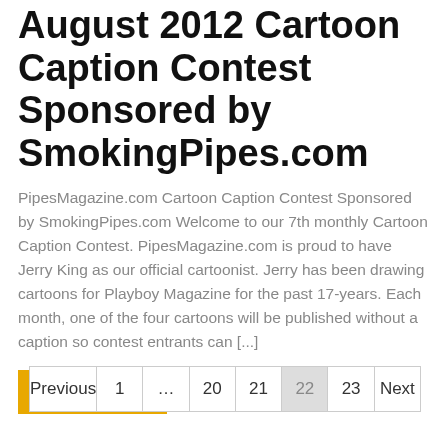August 2012 Cartoon Caption Contest Sponsored by SmokingPipes.com
PipesMagazine.com Cartoon Caption Contest Sponsored by SmokingPipes.com Welcome to our 7th monthly Cartoon Caption Contest. PipesMagazine.com is proud to have Jerry King as our official cartoonist. Jerry has been drawing cartoons for Playboy Magazine for the past 17-years. Each month, one of the four cartoons will be published without a caption so contest entrants can [...]
READ MORE